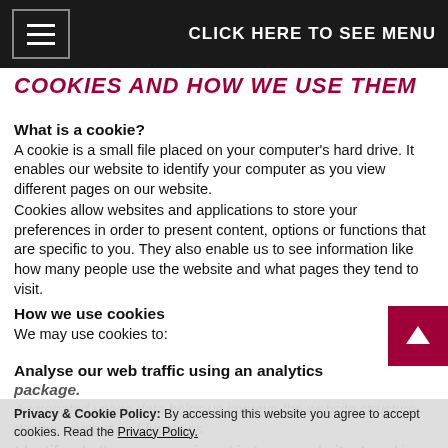CLICK HERE TO SEE MENU
COOKIES AND HOW WE USE THEM
What is a cookie?
A cookie is a small file placed on your computer's hard drive. It enables our website to identify your computer as you view different pages on our website.
Cookies allow websites and applications to store your preferences in order to present content, options or functions that are specific to you. They also enable us to see information like how many people use the website and what pages they tend to visit.
How we use cookies
We may use cookies to:
Analyse our web traffic using an analytics package.
Aggregated usage data helps us improve the website structure, design, content and functions.
Identify whether you are signed in to our website. A cookie allows us to check whether you are signed in to the site.
Test content on our website. For example, 50% of our
Privacy & Cookie Policy: By accessing this website you agree to accept cookies. Read the Privacy Policy.